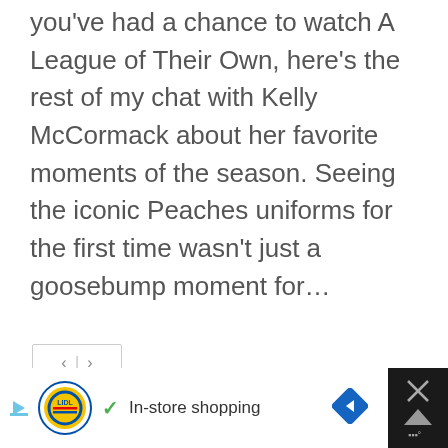you've had a chance to watch A League of Their Own, here's the rest of my chat with Kelly McCormack about her favorite moments of the season. Seeing the iconic Peaches uniforms for the first time wasn't just a goosebump moment for...
[Figure (other): Navigation previous/next buttons UI element with left and right chevron arrows separated by a vertical divider, inside a bordered box]
[Figure (other): Advertisement bar at bottom: Lidl logo with checkmark and 'In-store shopping' text, navigation arrow icon, close X button on dark background]